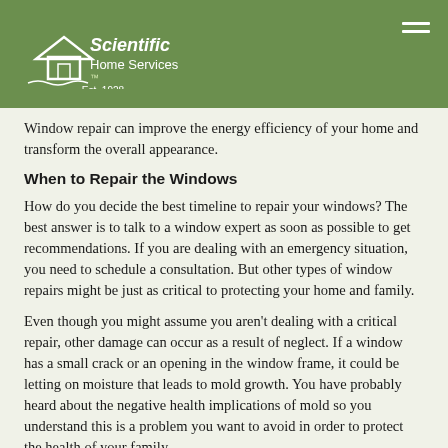Scientific Home Services Est. 1928
Window repair can improve the energy efficiency of your home and transform the overall appearance.
When to Repair the Windows
How do you decide the best timeline to repair your windows? The best answer is to talk to a window expert as soon as possible to get recommendations. If you are dealing with an emergency situation, you need to schedule a consultation. But other types of window repairs might be just as critical to protecting your home and family.
Even though you might assume you aren't dealing with a critical repair, other damage can occur as a result of neglect. If a window has a small crack or an opening in the window frame, it could be letting on moisture that leads to mold growth. You have probably heard about the negative health implications of mold so you understand this is a problem you want to avoid in order to protect the health of your family.
Mold and water damage caused by a leaking window can be